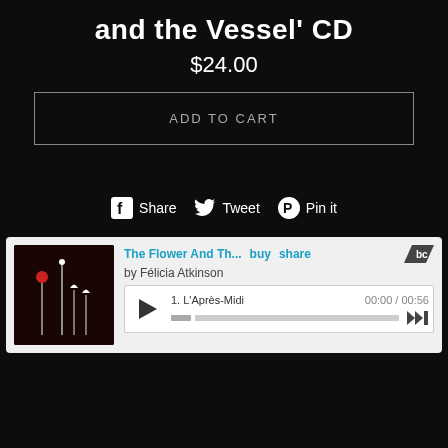and the Vessel' CD
$24.00
ADD TO CART
Share  Tweet  Pin it
[Figure (screenshot): Bandcamp embedded music player showing album 'The Flower And Th...' by Félicia Atkinson, with track 1 L'Après-Midi, duration 00:00 / 00:56, play button, progress bar, and skip controls. Album art shows flowers/stems on dark red background.]